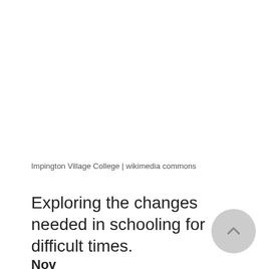Impington Village College | wikimedia commons
Exploring the changes needed in schooling for difficult times.
Nov...